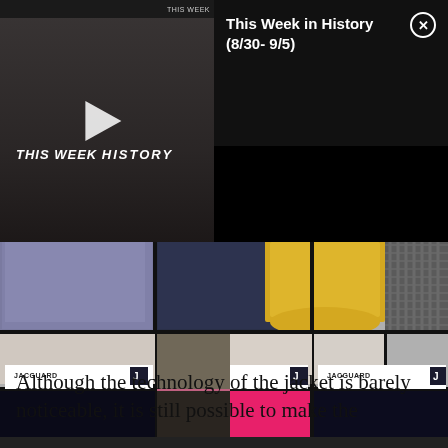[Figure (screenshot): Video player overlay showing 'THIS WEEK IN HISTORY' thumbnail with play button on dark background, and info panel reading 'This Week in History (8/30- 9/5)' with close button on black background]
[Figure (photo): Photograph of fabric swatches on a black metal grid display. Various textiles including purple/blue patterned, yellow, pink, dark navy fabrics with 'JACGUARD' labels]
Although the technology of the jacket is barely noticeable, it is still possible to make the